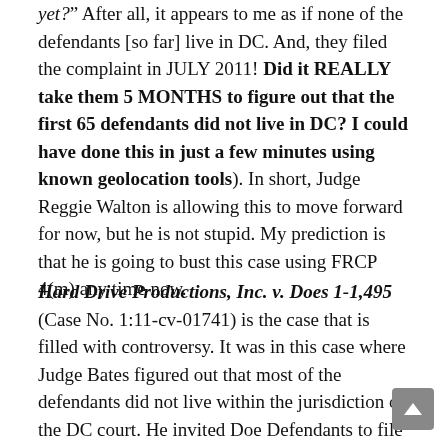yet?" After all, it appears to me as if none of the defendants [so far] live in DC. And, they filed the complaint in JULY 2011! Did it REALLY take them 5 MONTHS to figure out that the first 65 defendants did not live in DC? I could have done this in just a few minutes using known geolocation tools). In short, Judge Reggie Walton is allowing this to move forward for now, but he is not stupid. My prediction is that he is going to bust this case using FRCP 4(m) any time now.
Hard Drive Productions, Inc. v. Does 1-1,495 (Case No. 1:11-cv-01741) is the case that is filled with controversy. It was in this case where Judge Bates figured out that most of the defendants did not live within the jurisdiction of the DC court. He invited Doe Defendants to file motions to quash and promised that he would keep their information sealed and private. My first inclination when I saw this was "watch out! — DC